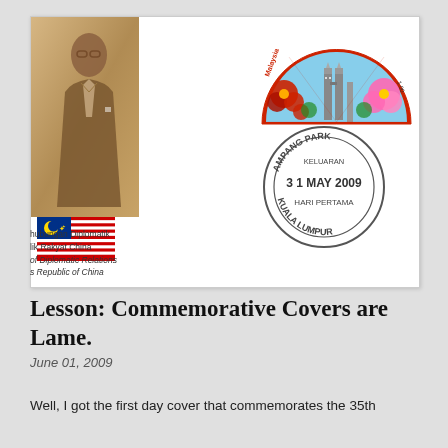[Figure (photo): A first day cover (envelope) featuring a portrait of a man in suit on the left side with sepia tones, a Malaysian flag at bottom left, a fan-shaped stamp with Petronas Towers and flowers on top right, and a circular postmark reading AMPANG PARK KELUARAN 3 1 MAY 2009 HARI PERTAMA KUALA LUMPUR. Below the envelope image on the left side: text reading 'hubungan Diplomatik lik Rakyat China of Diplomatic Relations s Republic of China']
Lesson: Commemorative Covers are Lame.
June 01, 2009
Well, I got the first day cover that commemorates the 35th